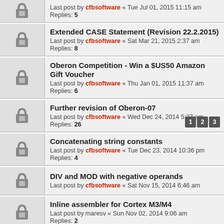Extended CASE Statement (Revision 22.2.2015)
Last post by cfbsoftware « Sat Mar 21, 2015 2:37 am
Replies: 8
Oberon Competition - Win a $US50 Amazon Gift Voucher
Last post by cfbsoftware « Thu Jan 01, 2015 11:37 am
Replies: 6
Further revision of Oberon-07
Last post by cfbsoftware « Wed Dec 24, 2014 5:27 am
Replies: 26 [pages 1 2 3]
Concatenating string constants
Last post by cfbsoftware « Tue Dec 23, 2014 10:36 pm
Replies: 4
DIV and MOD with negative operands
Last post by cfbsoftware « Sat Nov 15, 2014 6:46 am
Inline assembler for Cortex M3/M4
Last post by maresv « Sun Nov 02, 2014 9:06 am
Replies: 2
Bitfield functions
Last post by cfbsoftware « Wed Oct 01, 2014 1:16 pm
Enhanced SYSTEM.VAL - Serialization example
Last post by cfbsoftware « Sun Sep 28, 2014 1:41 am
Updated Oberon Language Report (Revision 1.10.2013)